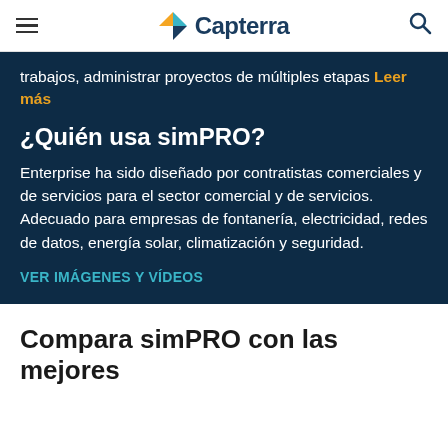Capterra
trabajos, administrar proyectos de múltiples etapas Leer más
¿Quién usa simPRO?
Enterprise ha sido diseñado por contratistas comerciales y de servicios para el sector comercial y de servicios. Adecuado para empresas de fontanería, electricidad, redes de datos, energía solar, climatización y seguridad.
VER IMÁGENES Y VÍDEOS
Compara simPRO con las mejores